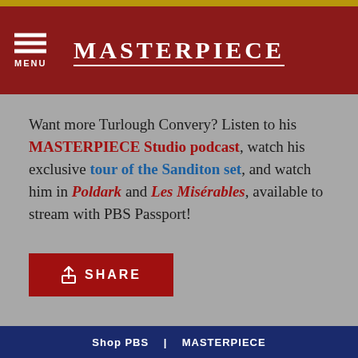MASTERPIECE
Want more Turlough Convery? Listen to his MASTERPIECE Studio podcast, watch his exclusive tour of the Sanditon set, and watch him in Poldark and Les Misérables, available to stream with PBS Passport!
[Figure (other): Red SHARE button with upload/share icon]
Shop PBS | MASTERPIECE